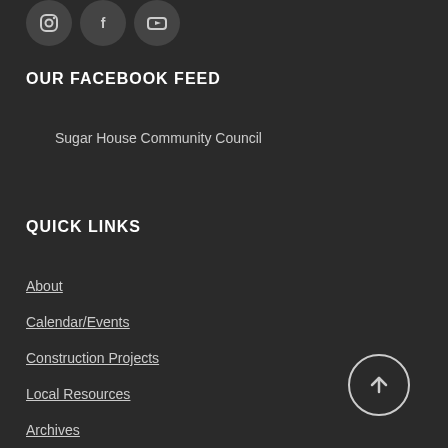[Figure (other): Social media icon buttons (Instagram, Facebook, YouTube) as dark rounded circles at top of page]
OUR FACEBOOK FEED
Sugar House Community Council
QUICK LINKS
About
Calendar/Events
Construction Projects
Local Resources
Archives
[Figure (other): Back to top arrow button - circular outline with upward arrow inside, bottom right corner]